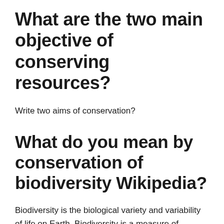What are the two main objective of conserving resources?
Write two aims of conservation?
What do you mean by conservation of biodiversity Wikipedia?
Biodiversity is the biological variety and variability of life on Earth. Biodiversity is a measure of variation at the genetic, species, and ecosystem level. ... It encompasses the evolutionary, ecological, and cultural processes that sustain life. Rapid environmental changes typically cause mass